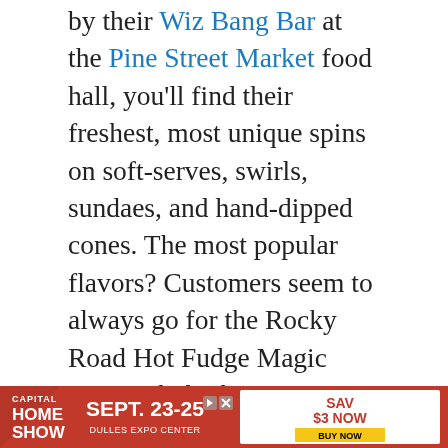by their Wiz Bang Bar at the Pine Street Market food hall, you'll find their freshest, most unique spins on soft-serves, swirls, sundaes, and hand-dipped cones. The most popular flavors? Customers seem to always go for the Rocky Road Hot Fudge Magic Cone, Rhubarb Sour Straws, and PBJ sundae. Aside from soft-serves, Salt & Straw also offers “novelties” like choco tacolates — taco shells stuffed with ice cream, dipped in chocolate and sprinkled with nuts; “concretes”, or soft-serves blended with homemade Oreos, chocolate chip cookie dough, hazelnut butter, or ch...
[Figure (infographic): Advertisement banner for Capital Home Show, Sept. 23-25, Dulles Expo Center, Save $3 Now, Buy Now]